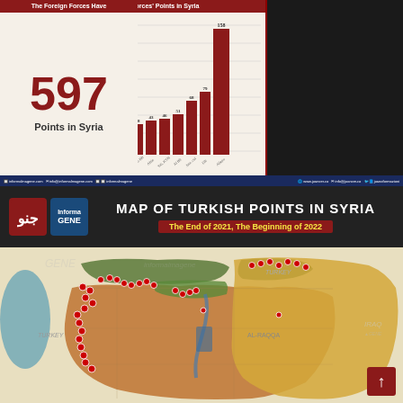Places of the Foreign Forces' Points in Syria
[Figure (bar-chart): Places of the Foreign Forces' Points in Syria]
The Foreign Forces Have
597
Points in Syria
MAP OF TURKISH POINTS IN SYRIA
The End of 2021, The Beginning of 2022
[Figure (map): Map of Turkish military points in Syria showing colored regions: green areas in north (Turkish-backed territory), yellow (Kurdish/SDF areas), red/orange (southern Syrian government areas), teal/blue (Mediterranean coast area). Multiple red pin markers scattered across northern Syria indicating Turkish military points. Countries labeled: Turkey to north, Iraq to east.]